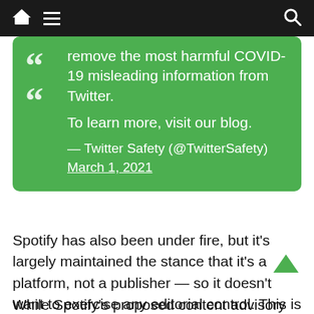[navigation bar with home, menu, and search icons]
remove the most harmful COVID-19 misleading information from Twitter.

To learn more, visit our blog.

— Twitter Safety (@TwitterSafety) March 1, 2021
Spotify has also been under fire, but it's largely maintained the stance that it's a platform, not a publisher — so it doesn't want to exercise any editorial control. This is clearly a falsity.
While Spotify's proposed content advisory